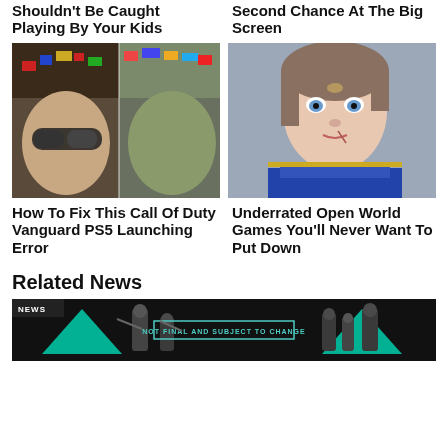Shouldn't Be Caught Playing By Your Kids
Second Chance At The Big Screen
[Figure (photo): Call of Duty Vanguard game art showing a soldier with a split face between human and decorated military helmet with sunglasses]
[Figure (photo): Fantasy female character in blue armor with short brown hair and vivid blue eyes, from a video game or animated film]
How To Fix This Call Of Duty Vanguard PS5 Launching Error
Underrated Open World Games You'll Never Want To Put Down
Related News
[Figure (screenshot): News banner with dark background showing military soldiers, cyan triangle logos, and a 'NOT FINAL AND SUBJECT TO CHANGE' label in teal border]